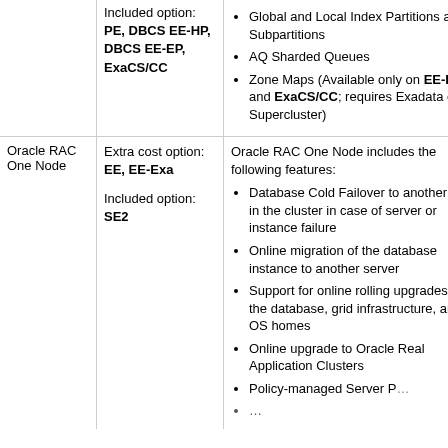| Feature | Option Type | Description |
| --- | --- | --- |
|  | Included option: PE, DBCS EE-HP, DBCS EE-EP, ExaCS/CC | • Global and Local Index Partitions and Subpartitions
• AQ Sharded Queues
• Zone Maps (Available only on EE-Exa and ExaCS/CC; requires Exadata or Supercluster) |
| Oracle RAC One Node | Extra cost option: EE, EE-Exa
Included option: SE2 | Oracle RAC One Node includes the following features:
• Database Cold Failover to another node in the cluster in case of server or instance failure
• Online migration of the database instance to another server
• Support for online rolling upgrades of the database, grid infrastructure, and OS homes
• Online upgrade to Oracle Real Application Clusters
• Policy-managed Server P...
• ... |